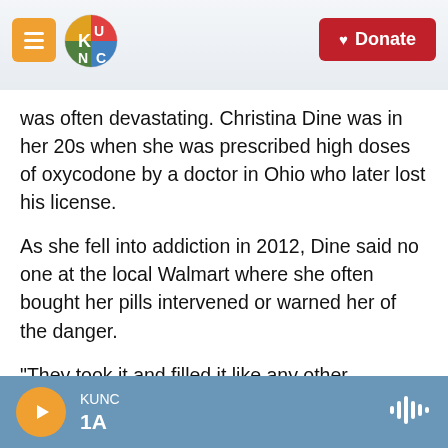KUNC — Donate
was often devastating. Christina Dine was in her 20s when she was prescribed high doses of oxycodone by a doctor in Ohio who later lost his license.
As she fell into addiction in 2012, Dine said no one at the local Walmart where she often bought her pills intervened or warned her of the danger.
"They took it and filled it like any other prescription. I never once had a pharmacist or any other pharmacy staff question it, question me, ask me any questions whatsoever."
KUNC 1A